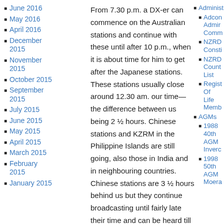June 2016
May 2016
April 2016
December 2015
November 2015
October 2015
September 2015
July 2015
June 2015
May 2015
April 2015
March 2015
February 2015
January 2015
From 7.30 p.m. a DX-er can commence on the Australian stations and continue with these until after 10 p.m., when it is about time for him to get after the Japanese stations. These stations usually close around 12.30 am. our time—the difference between us being 2 ½ hours. Chinese stations and KZRM in the Philippine Islands are still going, also those in India and in neighbouring countries. Chinese stations are 3 ½ hours behind us but they continue broadcasting until fairly late their time and can be heard till 2 or 3 a.m. our time. To get the African stations, one must be up about 4 or 5 a.m. and in the spring and autumn the European stations are heard best
Administr
Adcon Admir Comm
NZRD Consti
NZRD Count List
Regist Of Life Memb
AGMs
1988 40th AGM Inverc
1998 50th AGM Moera